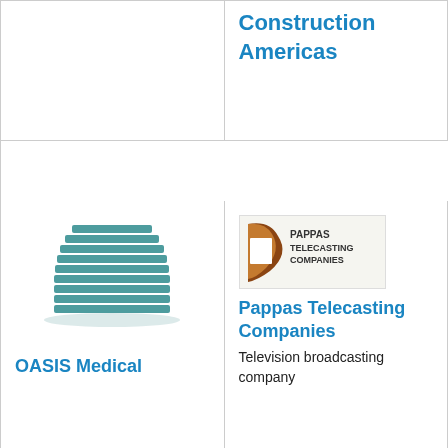Construction Americas
[Figure (logo): OASIS Medical building logo icon (teal stacked building)]
OASIS Medical
[Figure (logo): Pappas Telecasting Companies logo - brown/white graphic with text]
Pappas Telecasting Companies
Television broadcasting company
[Figure (logo): Barrett Technology blue circular logo with text Barrett Technology]
Barrett Technology, Inc.
Robotics company
[Figure (logo): Building icon teal stacked building logo]
Trophy Nissan